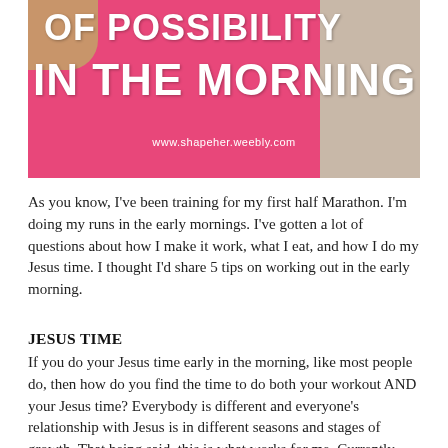[Figure (photo): Woman wearing a bright pink tank top with white text reading 'OF POSSIBILITY IN THE MORNING', standing near a door. Website url www.shapeher.weebly.com overlaid on image.]
As you know, I've been training for my first half Marathon. I'm doing my runs in the early mornings. I've gotten a lot of questions about how I make it work, what I eat, and how I do my Jesus time. I thought I'd share 5 tips on working out in the early morning.
JESUS TIME
If you do your Jesus time early in the morning, like most people do, then how do you find the time to do both your workout AND your Jesus time? Everybody is different and everyone's relationship with Jesus is in different seasons and stages of growth. That being said, this is what works for me. Currently, I'm doing 5 runs in the mornings each week. I get up first thing and go run. And I have a short